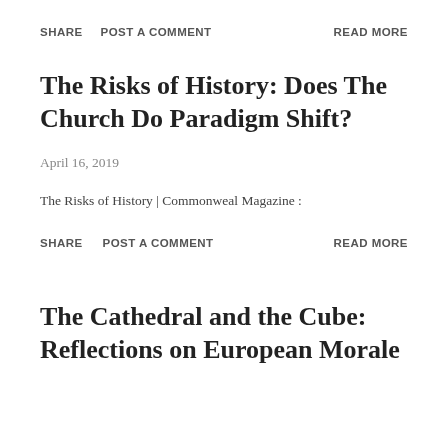SHARE   POST A COMMENT   READ MORE
The Risks of History: Does The Church Do Paradigm Shift?
April 16, 2019
The Risks of History | Commonweal Magazine :
SHARE   POST A COMMENT   READ MORE
The Cathedral and the Cube: Reflections on European Morale